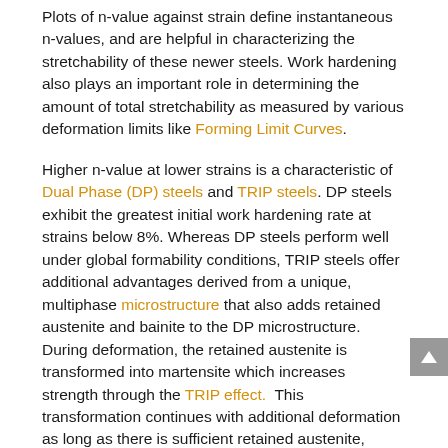Plots of n-value against strain define instantaneous n-values, and are helpful in characterizing the stretchability of these newer steels. Work hardening also plays an important role in determining the amount of total stretchability as measured by various deformation limits like Forming Limit Curves.
Higher n-value at lower strains is a characteristic of Dual Phase (DP) steels and TRIP steels. DP steels exhibit the greatest initial work hardening rate at strains below 8%. Whereas DP steels perform well under global formability conditions, TRIP steels offer additional advantages derived from a unique, multiphase microstructure that also adds retained austenite and bainite to the DP microstructure. During deformation, the retained austenite is transformed into martensite which increases strength through the TRIP effect. This transformation continues with additional deformation as long as there is sufficient retained austenite, allowing TRIP steel to maintain very